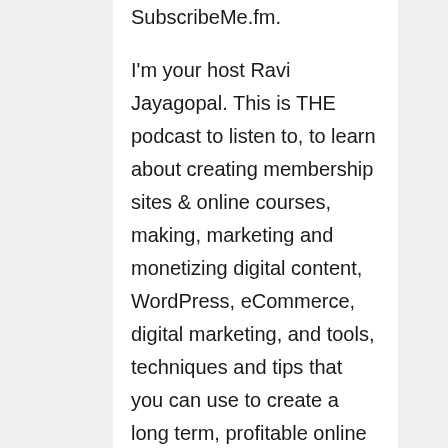SubscribeMe.fm.
I'm your host Ravi Jayagopal. This is THE podcast to listen to, to learn about creating membership sites & online courses, making, marketing and monetizing digital content, WordPress, eCommerce, digital marketing, and tools, techniques and tips that you can use to create a long term, profitable online business.
I am the co-founder & co-developer of DigitalAccessPass.com, easily the best membership plugin in the industry, fondly known as DAP.